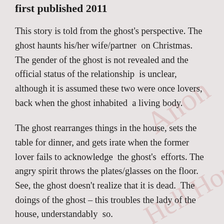first published 2011
This story is told from the ghost's perspective. The ghost haunts his/her wife/partner on Christmas. The gender of the ghost is not revealed and the official status of the relationship is unclear, although it is assumed these two were once lovers, back when the ghost inhabited a living body.
The ghost rearranges things in the house, sets the table for dinner, and gets irate when the former lover fails to acknowledge the ghost's efforts. The angry spirit throws the plates/glasses on the floor. See, the ghost doesn't realize that it is dead. The doings of the ghost – this troubles the lady of the house, understandably so.